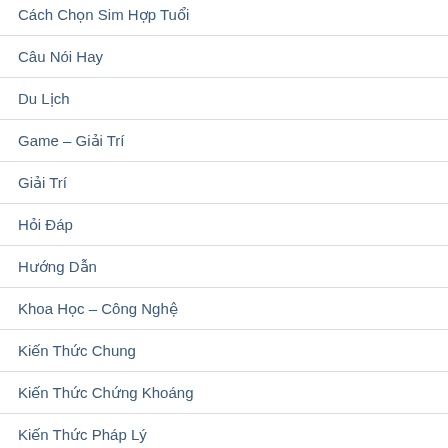Cách Chọn Sim Hợp Tuổi
Câu Nói Hay
Du Lịch
Game – Giải Trí
Giải Trí
Hỏi Đáp
Hướng Dẫn
Khoa Học – Công Nghệ
Kiến Thức Chung
Kiến Thức Chứng Khoáng
Kiến Thức Pháp Lý